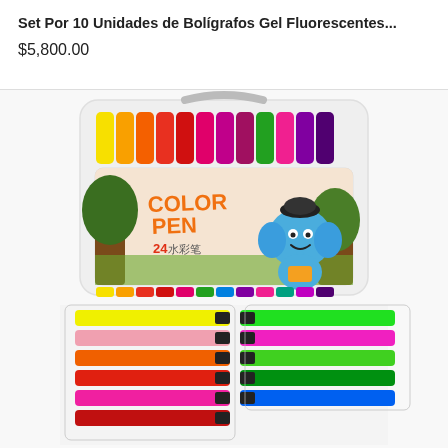Set Por 10 Unidades de Bolígrafos Gel Fluorescentes...
$5,800.00
[Figure (photo): Product photo showing a Color Pen 24 set in a clear plastic carrying case with colorful marker pens. The top portion shows the case with multiple colored pen caps visible. The bottom portion shows individual pens laid out flat in two groups — fluorescent/neon colors on the left and bright colors on the right.]